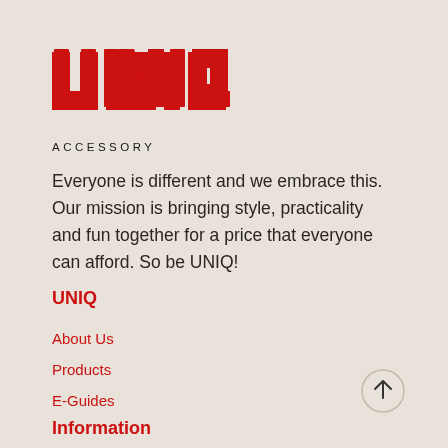[Figure (logo): UNIQ Accessory logo — stylized red block letters spelling UNIQ with geometric cutouts, followed by 'ACCESSORY' in spaced small caps below]
Everyone is different and we embrace this. Our mission is bringing style, practicality and fun together for a price that everyone can afford. So be UNIQ!
UNIQ
About Us
Products
E-Guides
Information